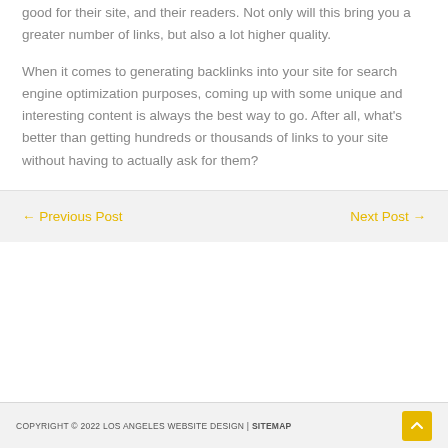good for their site, and their readers. Not only will this bring you a greater number of links, but also a lot higher quality.
When it comes to generating backlinks into your site for search engine optimization purposes, coming up with some unique and interesting content is always the best way to go. After all, what's better than getting hundreds or thousands of links to your site without having to actually ask for them?
← Previous Post   Next Post →
COPYRIGHT © 2022 LOS ANGELES WEBSITE DESIGN | SITEMAP